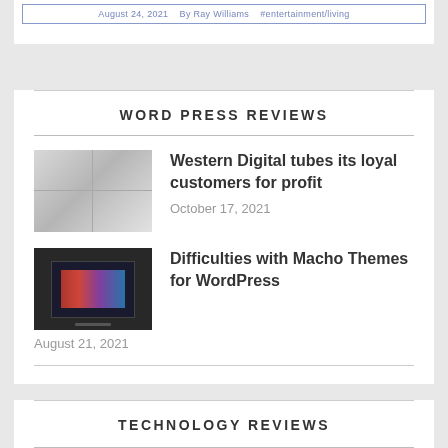WORD PRESS REVIEWS
Western Digital tubes its loyal customers for profit
October 17, 2021
Difficulties with Macho Themes for WordPress
August 21, 2021
TECHNOLOGY REVIEWS